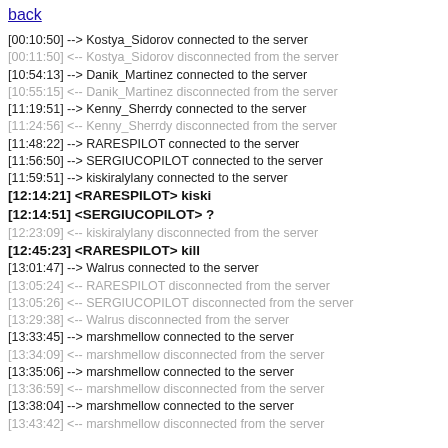back
[00:10:50] --> Kostya_Sidorov connected to the server
[00:11:50] <-- Kostya_Sidorov disconnected from the server
[10:54:13] --> Danik_Martinez connected to the server
[10:55:15] <-- Danik_Martinez disconnected from the server
[11:19:51] --> Kenny_Sherrdy connected to the server
[11:24:56] <-- Kenny_Sherrdy disconnected from the server
[11:48:22] --> RARESPILOT connected to the server
[11:56:50] --> SERGIUCOPILOT connected to the server
[11:59:51] --> kiskiralylany connected to the server
[12:14:21] <RARESPILOT> kiski
[12:14:51] <SERGIUCOPILOT> ?
[12:23:09] <-- kiskiralylany disconnected from the server
[12:45:23] <RARESPILOT> kill
[13:01:47] --> Walrus connected to the server
[13:05:24] <-- RARESPILOT disconnected from the server
[13:05:26] <-- SERGIUCOPILOT disconnected from the server
[13:29:38] <-- Walrus disconnected from the server
[13:33:45] --> marshmellow connected to the server
[13:34:09] <-- marshmellow disconnected from the server
[13:35:06] --> marshmellow connected to the server
[13:36:59] <-- marshmellow disconnected from the server
[13:38:04] --> marshmellow connected to the server
[13:43:42] <-- marshmellow disconnected from the server